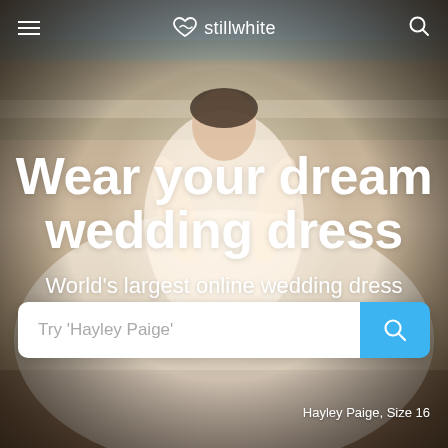[Figure (photo): Hero background photo of a bride in a white lace ball gown wedding dress, smiling and holding up the skirt, with a balustrade and greenery in the background. From Stillwhite wedding dress marketplace website.]
stillwhite
Wear your dream wedding dress
World's largest online wedding dress marketplace
Try 'Hayley Paige'
Hayley Paige, Size 16